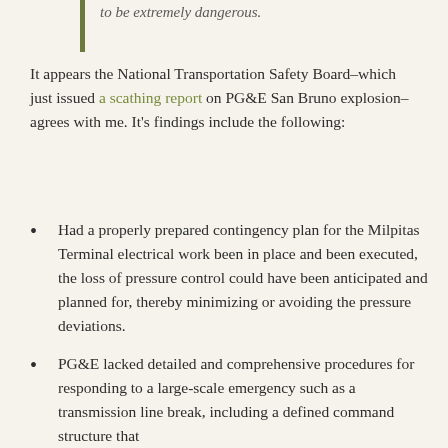to be extremely dangerous.
It appears the National Transportation Safety Board–which just issued a scathing report on PG&E San Bruno explosion–agrees with me. It's findings include the following:
Had a properly prepared contingency plan for the Milpitas Terminal electrical work been in place and been executed, the loss of pressure control could have been anticipated and planned for, thereby minimizing or avoiding the pressure deviations.
PG&E lacked detailed and comprehensive procedures for responding to a large-scale emergency such as a transmission line break, including a defined command structure that